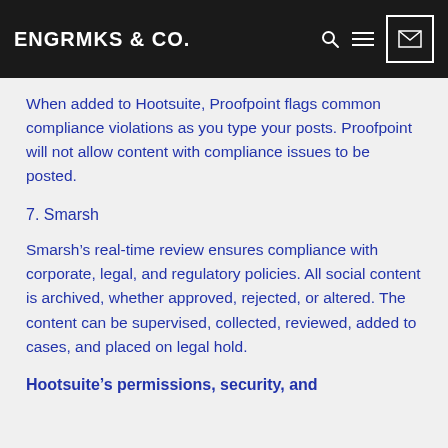ENGRMKS & CO.
When added to Hootsuite, Proofpoint flags common compliance violations as you type your posts. Proofpoint will not allow content with compliance issues to be posted.
7. Smarsh
Smarsh’s real-time review ensures compliance with corporate, legal, and regulatory policies. All social content is archived, whether approved, rejected, or altered. The content can be supervised, collected, reviewed, added to cases, and placed on legal hold.
Hootsuite’s permissions, security, and